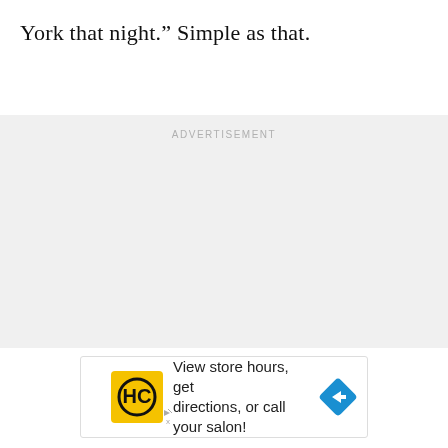York that night.” Simple as that.
[Figure (other): Grey advertisement placeholder area with ADVERTISEMENT label text]
[Figure (other): Advertisement banner: HC hair salon logo, text 'View store hours, get directions, or call your salon!' with blue navigation arrow icon]